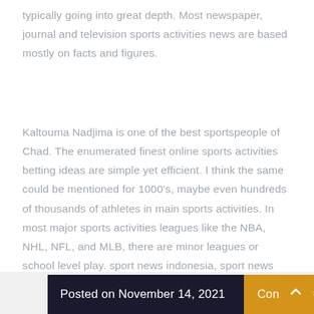typically going into great depth. Most newspaper, journal and television sports activities news are based mostly on facts and figures.
Kaltouma Nadjima is one of the best sportspeople of Chad. The enumerated finest online sports activities betting ideas are simple yet efficient. I think the same could be mentioned for 1000's, maybe even hundreds of thousands of athletes in main sports activities. In most major sports activities leagues like the NBA, NHL, NFL, and MLB, there are minor leagues or school level play. sport news indonesia, sport news today live, sport news updates, sport news update now, sport news 2020 ESPN is a sports channel that features reruns of famous, sporting occasions, each day … Read More..
Posted on November 14, 2021
Continue reading